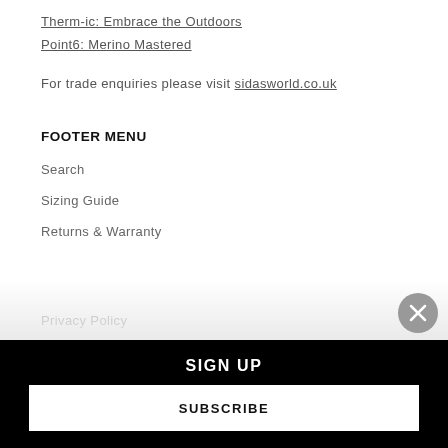Therm-ic: Embrace the Outdoors
Point6: Merino Mastered
For trade enquiries please visit sidasworld.co.uk
FOOTER MENU
Search
Sizing Guide
Returns & Warranty
Privacy Policy
SIGN UP
SUBSCRIBE